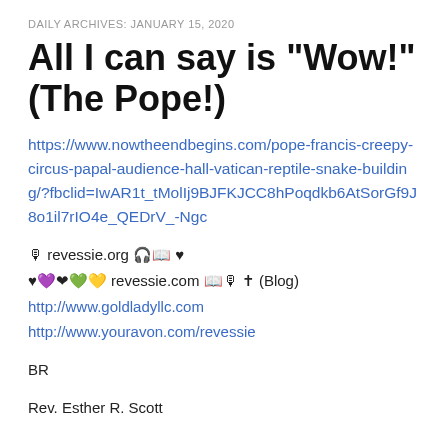DAILY ARCHIVES: JANUARY 15, 2020
All I can say is "Wow!" (The Pope!)
https://www.nowtheendbegins.com/pope-francis-creepy-circus-papal-audience-hall-vatican-reptile-snake-building/?fbclid=IwAR1t_tMolIj9BJFKJCC8hPoqdkb6AtSorGf9J8o1il7rIO4e_QEDrV_-Ngc
🎙 revessie.org 🎧📖 ♥
♥💜❤️💚💛 revessie.com 📖🎙 ✝ (Blog)
http://www.goldladyllc.com
http://www.youravon.com/revessie
BR
Rev. Esther R. Scott